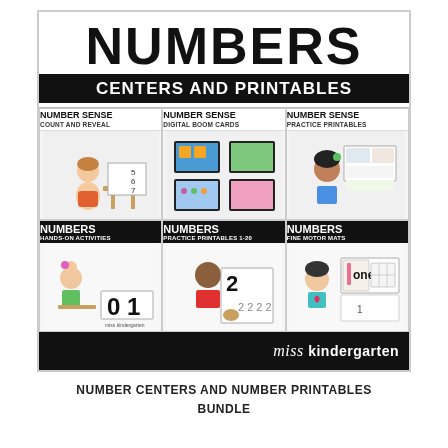[Figure (illustration): Educational product cover for 'Numbers Centers and Printables' bundle by Miss Kindergarten. Large bold 'NUMBERS' title at top, black bar with 'CENTERS AND PRINTABLES', then a 3x2 grid of sub-product thumbnails: Number Sense Count and Reveal, Number Sense Digital Boom Cards, Number Sense Practice Printables, Numbers Hands-On Activities, Numbers Practice Printables 1-20, Numbers Fine Motor Mats. Cartoon children illustrations. Miss Kindergarten branding at bottom right.]
NUMBER CENTERS AND NUMBER PRINTABLES BUNDLE